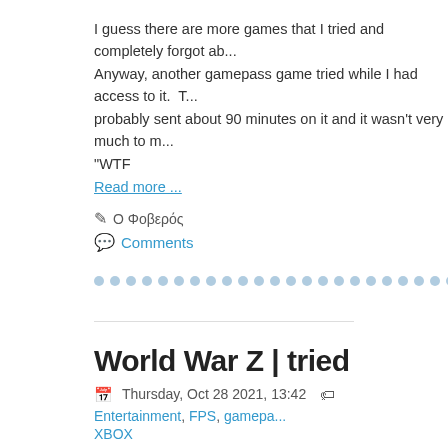I guess there are more games that I tried and completely forgot ab... Anyway, another gamepass game tried while I had access to it. T... probably sent about 90 minutes on it and it wasn't very much to m... "WTF
Read more ...
Ο Φοβερός
Comments
World War Z | tried
Thursday, Oct 28 2021, 13:42   Entertainment, FPS, gamepa... XBOX
Another "tried" review from my gamepass days. This one from Apr... of FPS games, and of the zombie genre, so I had high hopes for t... replayability IMO. The game teams you up with four other people... from Wikipedia).